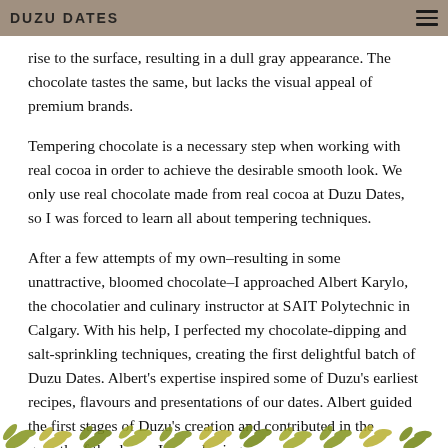DUZU DATES
rise to the surface, resulting in a dull gray appearance. The chocolate tastes the same, but lacks the visual appeal of premium brands.
Tempering chocolate is a necessary step when working with real cocoa in order to achieve the desirable smooth look. We only use real chocolate made from real cocoa at Duzu Dates, so I was forced to learn all about tempering techniques.
After a few attempts of my own–resulting in some unattractive, bloomed chocolate–I approached Albert Karylo, the chocolatier and culinary instructor at SAIT Polytechnic in Calgary. With his help, I perfected my chocolate-dipping and salt-sprinkling techniques, creating the first delightful batch of Duzu Dates. Albert's expertise inspired some of Duzu's earliest recipes, flavours and presentations of our dates. Albert guided the first stages of Duzu's creation and contributed in the growth of the dream I was chasing.
[Figure (illustration): Decorative leaf/plant motif border at the bottom of the page in olive/yellow-green colors]